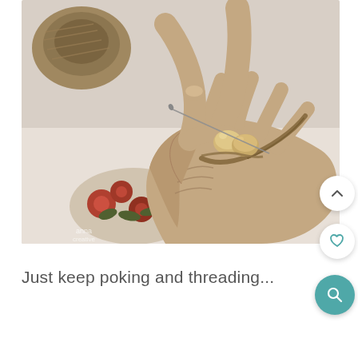[Figure (photo): Close-up photo of two hands threading wooden beads onto a thin wire or needle, with a spool of natural jute twine visible in the upper left background and a floral decorative paper cutout in the lower left background.]
Just keep poking and threading...